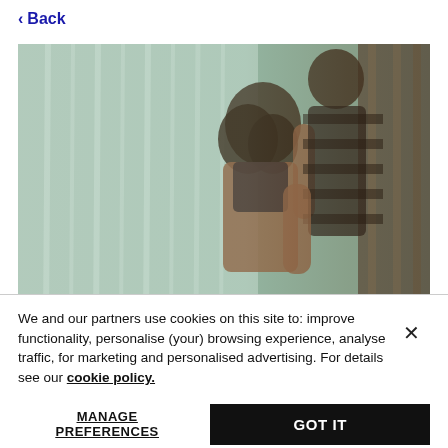< Back
[Figure (photo): Two people in an intimate embrace near a window with slatted light casting shadows across them.]
We and our partners use cookies on this site to: improve functionality, personalise (your) browsing experience, analyse traffic, for marketing and personalised advertising. For details see our cookie policy.
MANAGE PREFERENCES
GOT IT